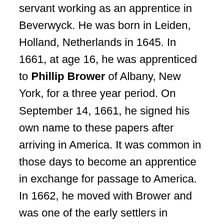servant working as an apprentice in Beverwyck. He was born in Leiden, Holland, Netherlands in 1645. In 1661, at age 16, he was apprenticed to Phillip Brower of Albany, New York, for a three year period. On September 14, 1661, he signed his own name to these papers after arriving in America. It was common in those days to become an apprentice in exchange for passage to America. In 1662, he moved with Brower and was one of the early settlers in Schenectady, New York. Brower died in 1664 and Jan became a free man. Sometime in the early 1670s, Jan married Cornelia Bratt, a daughter of Arent Andres Bratt, the Vice Governor of Renselaerwyck. Jan was Deacon of the Dutch Church and was a Justice of the Peace under the Leyster Administration. Both were very important positions at the time. He remained in Schenectady all his life. He owned considerable lands in the area. Years later, one of his sons sold some of the land